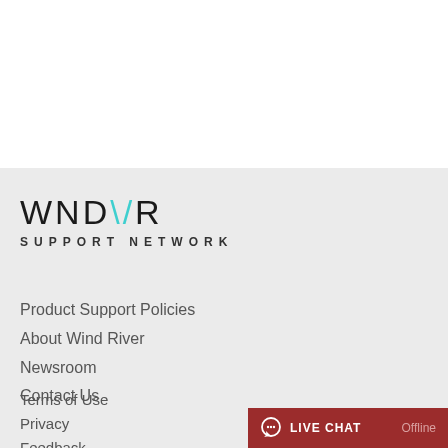[Figure (logo): WNDRVR Support Network logo with teal slash mark]
Product Support Policies
About Wind River
Newsroom
Contact Us
Terms of Use
Privacy
Feedback
[Figure (other): Live Chat button — Offline state, dark red background]